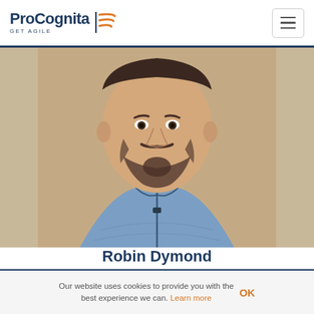ProCognita GET AGILE
[Figure (photo): Portrait photo of Robin Dymond, a man with a beard wearing a blue zip-up athletic top, photographed from shoulders up against a tan/golden background.]
Robin Dymond
Trainer and consultant Agile and Lean. Expert of Scrum4Hardware.
Our website uses cookies to provide you with the best experience we can. Learn more  OK